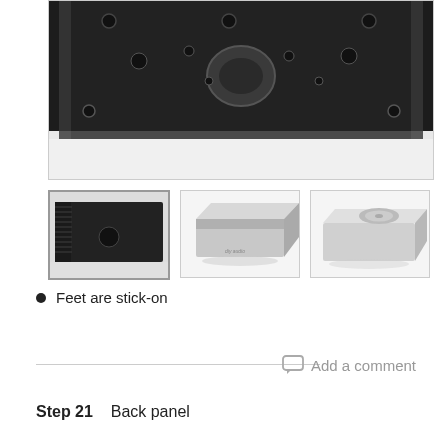[Figure (photo): Close-up photo of the bottom/back of a dark metal electronics enclosure showing screw holes, mounting holes, and a circular cutout in the center, viewed from above at an angle on a white surface.]
[Figure (photo): Thumbnail: dark metal electronics enclosure showing bottom with heatsink fins, screw holes, and a circular hole, viewed from a low angle.]
[Figure (photo): Thumbnail: silver/white aluminum electronics enclosure shown from the front-left side at an angle on a white surface, with small text on the front face.]
[Figure (photo): Thumbnail: silver/white aluminum electronics enclosure shown from top-front angle with a CD or disc visible inside the open top.]
Feet are stick-on
Step 21    Back panel